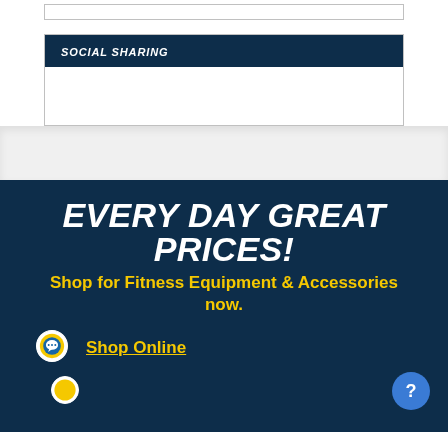SOCIAL SHARING
EVERY DAY GREAT PRICES!
Shop for Fitness Equipment & Accessories now.
Shop Online
[Figure (illustration): Circular icon with chat bubble graphic, representing online shop link]